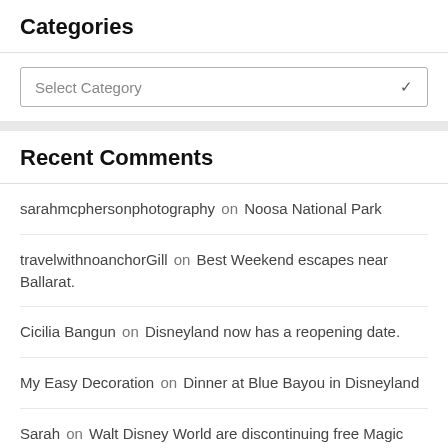Categories
Select Category
Recent Comments
sarahmcphersonphotography on Noosa National Park
travelwithnoanchorGill on Best Weekend escapes near Ballarat.
Cicilia Bangun on Disneyland now has a reopening date.
My Easy Decoration on Dinner at Blue Bayou in Disneyland
Sarah on Walt Disney World are discontinuing free Magic Bands for Resort guests from 2021